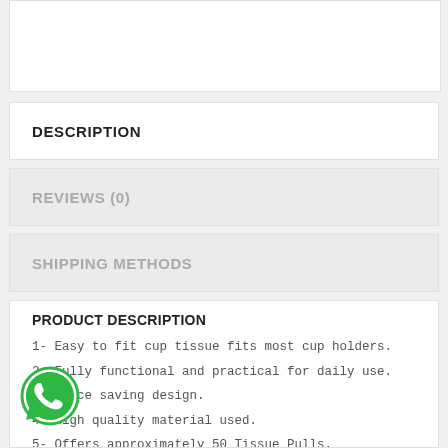DESCRIPTION
REVIEWS (0)
SHIPPING METHODS
PRODUCT DESCRIPTION
1- Easy to fit cup tissue fits most cup holders.
2- Fully functional and practical for daily use.
3- Space saving design.
4- High quality material used.
5- Offers approximately 50 Tissue Pulls.
[Figure (logo): WhatsApp green phone icon]